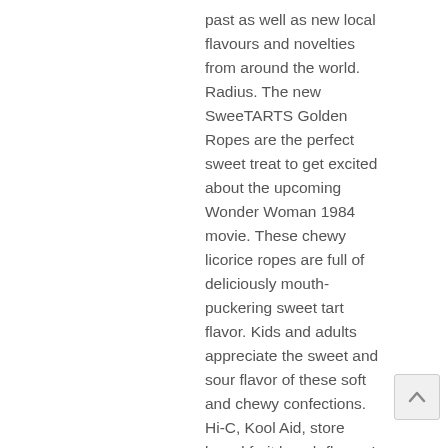past as well as new local flavours and novelties from around the world. Radius. The new SweeTARTS Golden Ropes are the perfect sweet treat to get excited about the upcoming Wonder Woman 1984 movie. These chewy licorice ropes are full of deliciously mouth-puckering sweet tart flavor. Kids and adults appreciate the sweet and sour flavor of these soft and chewy confections. Hi-C, Kool Aid, store brand fruit bunch flavor. In stock at San Leandro, 15555 Hesperian Blvd, what a surprise, delicious, soft. View. 2 SweeTarts Tropical Punch Wonder Woman Golden Ropes Candy 5 oz – Sweet Tarts. Lose weight by tracking your caloric intake quickly and easily. ROPES BITES - 5 Flavors of Ropes Bites – Strawberry, Blue Punch, Cherry, Apple, Orange. Enjoy the classic sweet and tart flavors of Sweetarts in a bendable fun fruity licorice rope. Learn how to cook great Sweet tart tropical punch . Ended: Jan 04, 2021. Find a Store × Cancel Continue Continue. Tangy Zangy Milk Chocolate Sour Wild Fruit Squares. While these candies might not be magical, they are delicious and will make you want to grab another package for sure!
[Figure (other): Scroll-to-top button with upward chevron arrow, gray background]